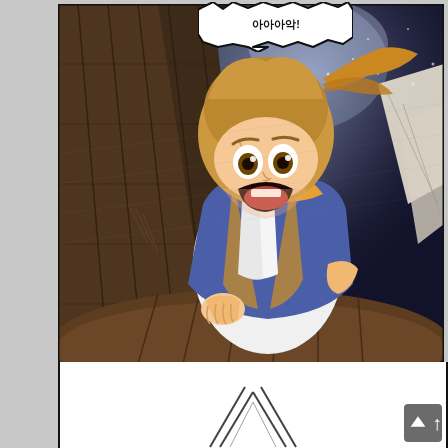[Figure (illustration): Manga/manhwa panel showing a young male character with blonde/orange hair, wide shocked eyes and open mouth screaming, wearing a blue and yellow/orange robe, gripping the edge of a wooden barrel or ship hull. The background is dark blue with white energy/light bursting from behind him. Diagonal wooden roof/wall planks frame the left side. A speech bubble at top with Korean-style exclamation text. The lower portion shows a white panel with motion/speed lines suggesting falling or something approaching.]